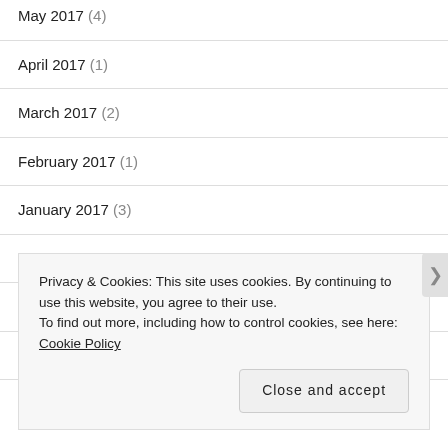May 2017 (4)
April 2017 (1)
March 2017 (2)
February 2017 (1)
January 2017 (3)
December 2016 (4)
October 2016 (1)
September 2016 (3)
August 2016 (3)
Privacy & Cookies: This site uses cookies. By continuing to use this website, you agree to their use.
To find out more, including how to control cookies, see here: Cookie Policy
Close and accept